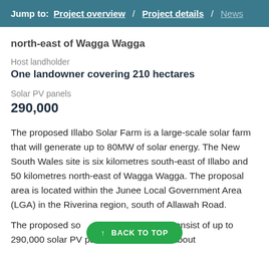Jump to: Project overview / Project details / News
north-east of Wagga Wagga
Host landholder
One landowner covering 210 hectares
Solar PV panels
290,000
The proposed Illabo Solar Farm is a large-scale solar farm that will generate up to 80MW of solar energy. The New South Wales site is six kilometres south-east of Illabo and 50 kilometres north-east of Wagga Wagga. The proposal area is located within the Junee Local Government Area (LGA) in the Riverina region, south of Allawah Road.
The proposed so... will consist of up to 290,000 solar PV panels on an area of about